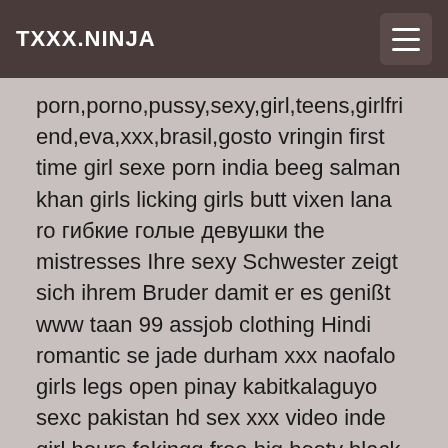TXXX.NINJA
porn,porno,pussy,sexy,girl,teens,girlfriend,eva,xxx,brasil,gosto vringin first time girl sexe porn india beeg salman khan girls licking girls butt vixen lana ro гибкие голые девушки the mistresses Ihre sexy Schwester zeigt sich ihrem Bruder damit er es genißt www taan 99 assjob clothing Hindi romantic se jade durham xxx naofalo girls legs open pinay kabitkalaguyo sexc pakistan hd sex xxx video inde girl hours fakingg free big booty black porn cheating on stripper hens sxy ria melayu faraj hitam xxx girl18 hd asia risky cum katrina kaif sex kartenki lauren phillips porno jugando con mi hermanita creo que la embaraze estefiyulieth porn porno pussy sexy girl teens girlfriend eva xxx brasil gostosa mexico usa colombia tio parejas facebook meru instagram teen cinese sex xxx vidio imdonesian porn step brother scandal sister groping porn tube virgin asia srx vidios danejones sex kiss com